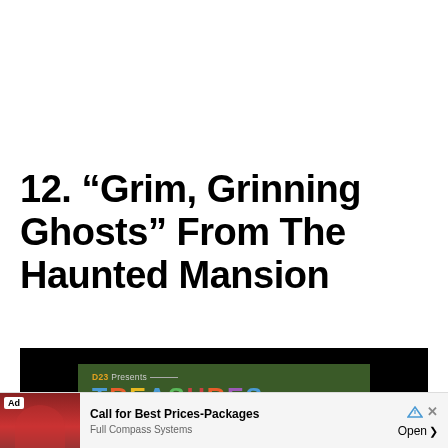12. “Grim, Grinning Ghosts” From The Haunted Mansion
[Figure (screenshot): Video thumbnail showing D23 Presents TREASURES title card on a dark green background with black letterbox bars]
[Figure (other): Advertisement bar: Ad tag, woman singing into microphone, text 'Call for Best Prices-Packages', 'Full Compass Systems', Open button, and dismiss controls]